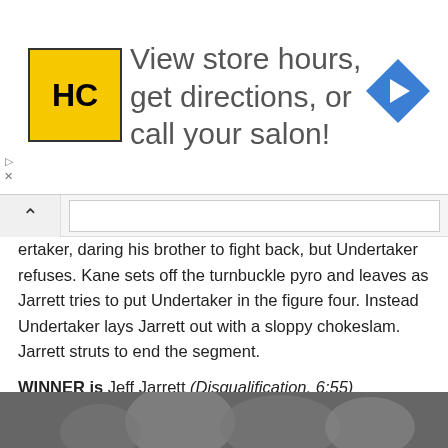[Figure (advertisement): HC hair salon advertisement banner with yellow logo and blue diamond arrow icon. Text: View store hours, get directions, or call your salon!]
ertaker, daring his brother to fight back, but Undertaker refuses. Kane sets off the turnbuckle pyro and leaves as Jarrett tries to put Undertaker in the figure four. Instead Undertaker lays Jarrett out with a sloppy chokeslam. Jarrett struts to end the segment.
WINNER is Jeff Jarrett (Disqualification, 6:55)
We head to the “Milton Bradley rooting section” next where Michael Cole interviews Mark Henry, who’s hanging out with the Milton Bradley “big wigs” and their kids, and says he’s a week or two from returning to the ring.
[Figure (photo): Partial photo at bottom of page showing people, cropped off at bottom edge]